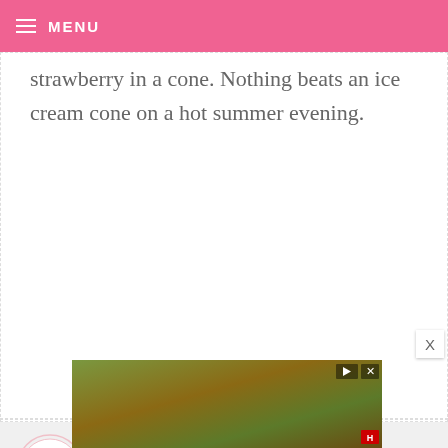MENU
strawberry in a cone. Nothing beats an ice cream cone on a hot summer evening.
LILLY — JUNE 15, 2014 @ 11:58 AM  REPLY
I love good old-fashioned vanilla ice cream in a cake or waffle cone...and covered in rainbow sprinkles of course!
[Figure (photo): Advertisement banner with outdoor scene]